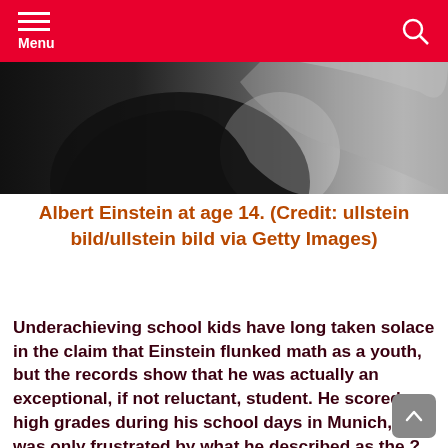Menu
[Figure (photo): Black and white photograph strip showing Albert Einstein at age 14, partial view with dark silhouette on left and lighter tones on right]
Albert Einstein at age 14. (Credit: ullstein bild/ullstein bild via Getty Images)
Underachieving school kids have long taken solace in the claim that Einstein flunked math as a youth, but the records show that he was actually an exceptional, if not reluctant, student. He scored high grades during his school days in Munich, and was only frustrated by what he described as the ? mechanical discipline? demanded by his teachers